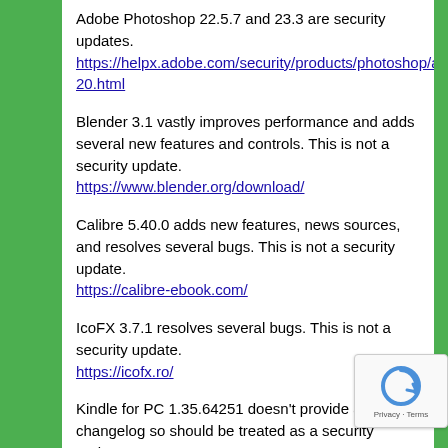Adobe Photoshop 22.5.7 and 23.3 are security updates. https://helpx.adobe.com/security/products/photoshop/apsb22-20.html
Blender 3.1 vastly improves performance and adds several new features and controls. This is not a security update. https://www.blender.org/download/
Calibre 5.40.0 adds new features, news sources, and resolves several bugs. This is not a security update. https://calibre-ebook.com/
IcoFX 3.7.1 resolves several bugs. This is not a security update. https://icofx.ro/
Kindle for PC 1.35.64251 doesn't provide a changelog so should be treated as a security update. https://www.amazon.com/kindleforpc